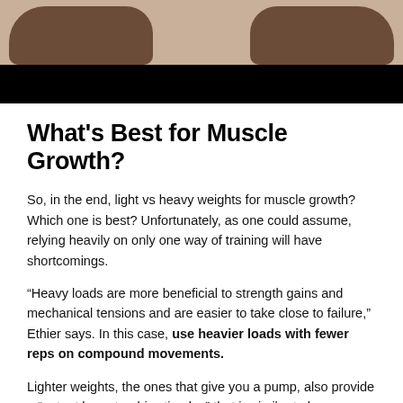[Figure (photo): Two muscular fists/arms from above on a light background, with a black bar beneath]
What's Best for Muscle Growth?
So, in the end, light vs heavy weights for muscle growth? Which one is best? Unfortunately, as one could assume, relying heavily on only one way of training will have shortcomings.
“Heavy loads are more beneficial to strength gains and mechanical tensions and are easier to take close to failure,” Ethier says. In this case, use heavier loads with fewer reps on compound movements.
Lighter weights, the ones that give you a pump, also provide a “potent hypertrophic stimulus” that is similar to heavy compound lifting. So use higher reps and lower weights in